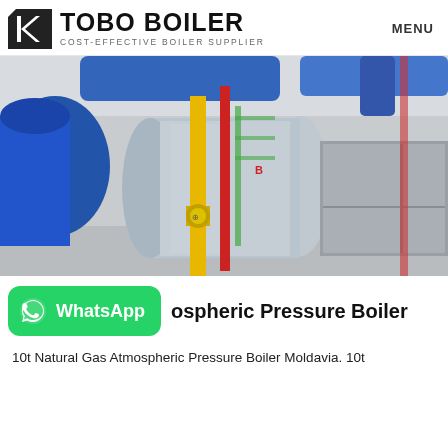TOBO BOILER COST-EFFECTIVE BOILER SUPPLIER | MENU
[Figure (photo): Industrial boiler installation showing a large horizontal pressure vessel (gray/silver) with blue piping, yellow gas pipes, and red pipes in a factory/plant interior. A Tobo brand logo is visible on the vessel. A rectangular metal enclosure is on the right side.]
Atmospheric Pressure Boiler
10t Natural Gas Atmospheric Pressure Boiler Moldavia. 10t